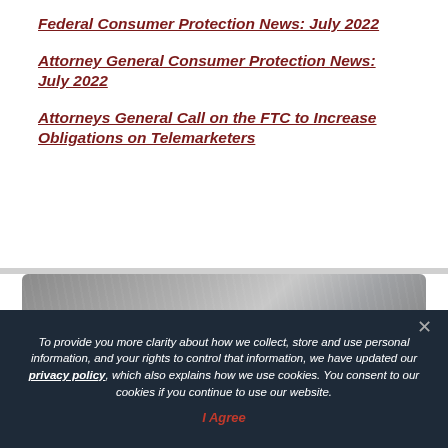Federal Consumer Protection News: July 2022
Attorney General Consumer Protection News: July 2022
Attorneys General Call on the FTC to Increase Obligations on Telemarketers
[Figure (photo): Partial view of a government or judicial building facade, dark gray tones]
To provide you more clarity about how we collect, store and use personal information, and your rights to control that information, we have updated our privacy policy, which also explains how we use cookies. You consent to our cookies if you continue to use our website.
I Agree